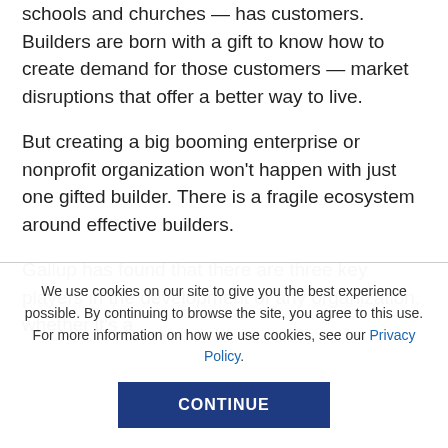schools and churches — has customers. Builders are born with a gift to know how to create demand for those customers — market disruptions that offer a better way to live.
But creating a big booming enterprise or nonprofit organization won't happen with just one gifted builder. There is a fragile ecosystem around effective builders.
Gallup has found that there are three key players in the development of any organization, whether it's a
We use cookies on our site to give you the best experience possible. By continuing to browse the site, you agree to this use. For more information on how we use cookies, see our Privacy Policy.
CONTINUE